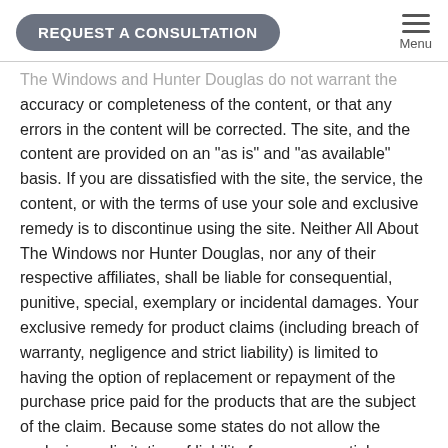REQUEST A CONSULTATION | Menu
The Windows and Hunter Douglas do not warrant the accuracy or completeness of the content, or that any errors in the content will be corrected. The site, and the content are provided on an "as is" and "as available" basis. If you are dissatisfied with the site, the service, the content, or with the terms of use your sole and exclusive remedy is to discontinue using the site. Neither All About The Windows nor Hunter Douglas, nor any of their respective affiliates, shall be liable for consequential, punitive, special, exemplary or incidental damages. Your exclusive remedy for product claims (including breach of warranty, negligence and strict liability) is limited to having the option of replacement or repayment of the purchase price paid for the products that are the subject of the claim. Because some states do not allow the exclusion or limitation of liability for consequential or incidental damages, some of the above limitations may not apply to you. In such states, All About The Windows and Hunter Douglas's collective liability is limited and warranties are excluded to the greatest extent permitted by law, but